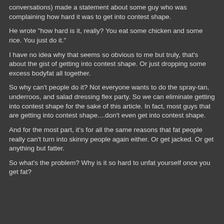conversations) made a statement about some guy who was complaining how hard it was to get into contest shape.
He wrote "how hard is it, really?  You eat some chicken and some rice.  You just do it."
I have no idea why that seems so obvious to me but truly, that's about the gist of getting into contest shape.  Or just dropping some excess bodyfat all together.
So why can't people do it?  Not everyone wants to do the spray-tan, underroos, and salad dressing flex party.  So we can eliminate getting into contest shape for the sake of this article.  In fact, most guys that are getting into contest shape....don't even get into contest shape.
And for the most part, it's for all the same reasons that fat people really can't turn into skinny people again either.  Or get jacked.  Or get anything but fatter.
So what's the problem?  Why is it so hard to unfat yourself once you get fat?